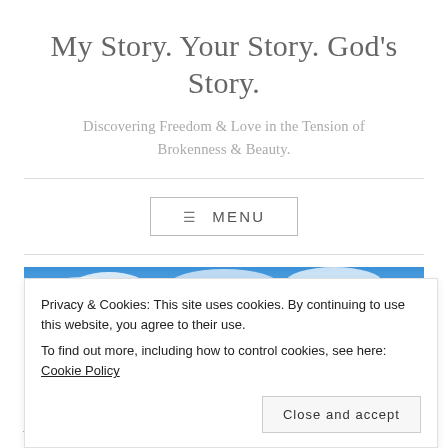My Story. Your Story. God's Story.
Discovering Freedom & Love in the Tension of Brokenness & Beauty.
≡ MENU
[Figure (photo): Blue sky with clouds, partial view at bottom of page]
Privacy & Cookies: This site uses cookies. By continuing to use this website, you agree to their use.
To find out more, including how to control cookies, see here: Cookie Policy
Close and accept
Authenticity